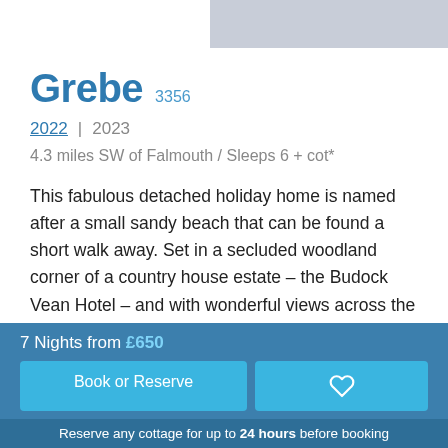[Figure (photo): Top banner image area — partially visible, light gray/photo strip]
Grebe 3356
2022 | 2023
4.3 miles SW of Falmouth / Sleeps 6 + cot*
This fabulous detached holiday home is named after a small sandy beach that can be found a short walk away. Set in a secluded woodland corner of a country house estate – the Budock Vean Hotel – and with wonderful views across the hotel grounds and gardens, this fabulous detached retreat has so much to offer for a holiday at any time of the year.
7 Nights from £650
Book or Reserve
Reserve any cottage for up to 24 hours before booking